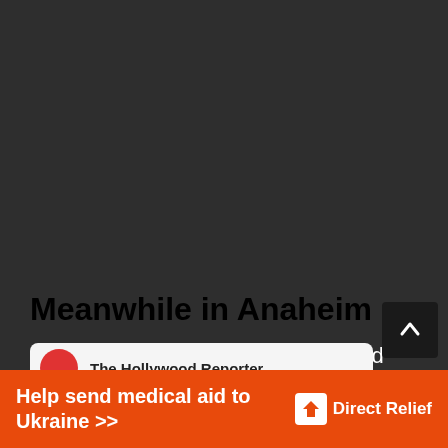[Figure (screenshot): Dark background area representing a webpage screenshot]
Meanwhile in Anaheim
Meanwhile, Anakin and Obi-Wan did make an appearance.
[Figure (other): The Hollywood Reporter card strip partially visible at bottom]
Help send medical aid to Ukraine >>
[Figure (logo): Direct Relief logo]